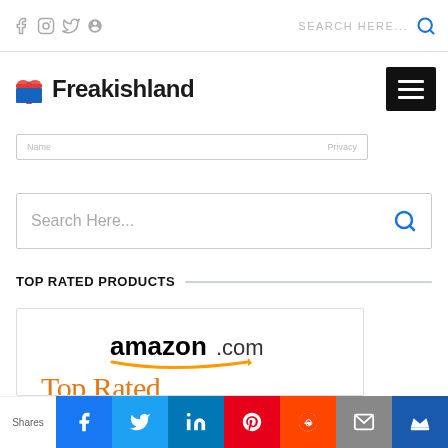Social icons: f, instagram, twitter, pinterest | SEARCH HERE... [search icon]
[Figure (logo): Freakishland logo with gift icon and hamburger menu]
[Figure (screenshot): Partial form bar with privacy text]
[Figure (screenshot): Search Here... input bar with search icon]
TOP RATED PRODUCTS
[Figure (screenshot): Amazon.com Top Rated product card]
Shares | Facebook | Twitter | LinkedIn | Pinterest | Reddit | Email | Crown